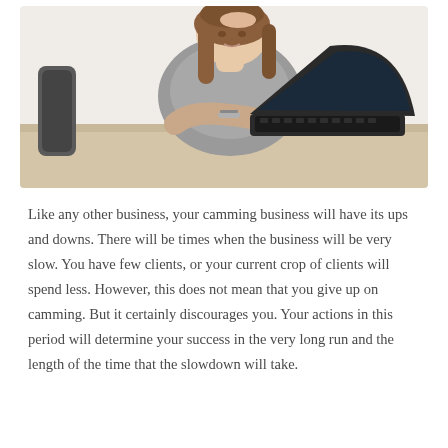[Figure (photo): A young woman with long brown hair sits at a desk looking stressed, leaning her head on one hand while typing on a laptop computer. She wears a gray sleeveless top and bracelets.]
Like any other business, your camming business will have its ups and downs. There will be times when the business will be very slow. You have few clients, or your current crop of clients will spend less. However, this does not mean that you give up on camming. But it certainly discourages you. Your actions in this period will determine your success in the very long run and the length of the time that the slowdown will take.